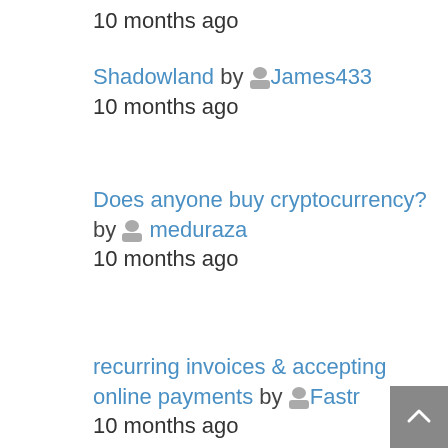10 months ago
Shadowland by James433
10 months ago
Does anyone buy cryptocurrency? by meduraza
10 months ago
recurring invoices & accepting online payments by Fastr
10 months ago
Username:
Password: